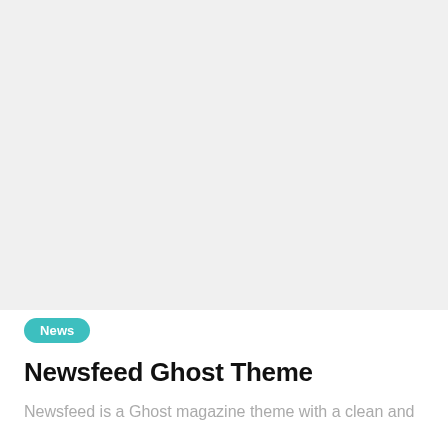[Figure (photo): Light gray placeholder image area occupying the top portion of the page]
News
Newsfeed Ghost Theme
Newsfeed is a Ghost magazine theme with a clean and